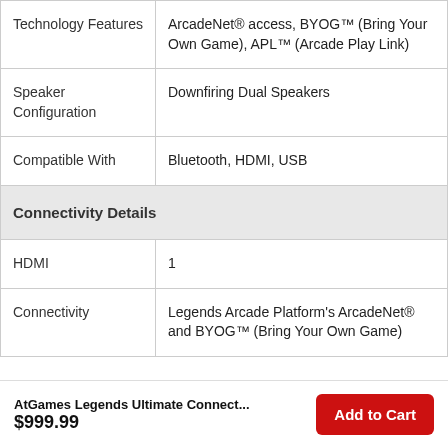| Feature | Value |
| --- | --- |
| Technology Features | ArcadeNet® access, BYOG™ (Bring Your Own Game), APL™ (Arcade Play Link) |
| Speaker Configuration | Downfiring Dual Speakers |
| Compatible With | Bluetooth, HDMI, USB |
| Connectivity Details |  |
| HDMI | 1 |
| Connectivity | Legends Arcade Platform's ArcadeNet® and BYOG™ (Bring Your Own Game) |
AtGames Legends Ultimate Connect...
$999.99
Add to Cart